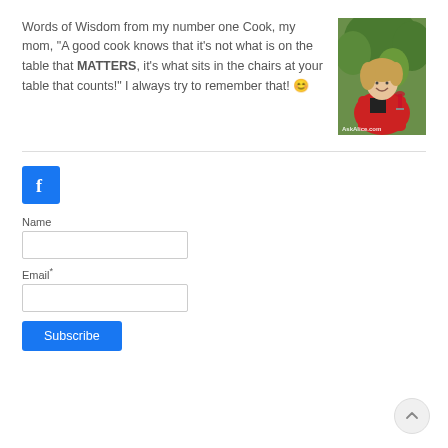Words of Wisdom from my number one Cook, my mom, "A good cook knows that it's not what is on the table that MATTERS, it's what sits in the chairs at your table that counts!" I always try to remember that! 😊
[Figure (photo): Woman in red jacket holding wine glass, smiling outdoors, with watermark AskAlice.com]
[Figure (logo): Facebook share button - blue square with white 'f']
Name
Email*
Subscribe